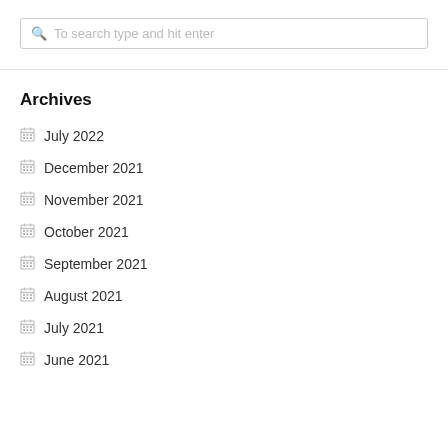To search type and hit enter
Archives
July 2022
December 2021
November 2021
October 2021
September 2021
August 2021
July 2021
June 2021